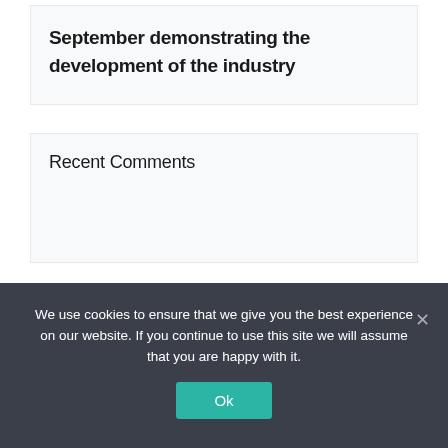September demonstrating the development of the industry
Recent Comments
Categories
We use cookies to ensure that we give you the best experience on our website. If you continue to use this site we will assume that you are happy with it.